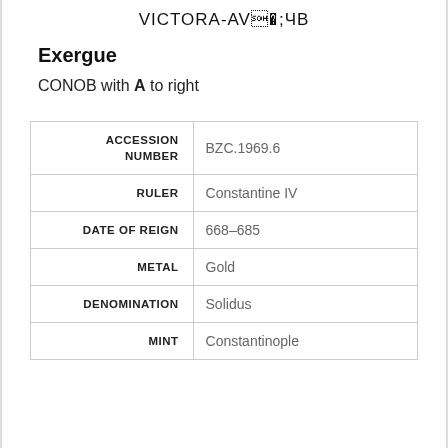VICTORA-AVS4B
Exergue
CONOB with A to right
|  |  |
| --- | --- |
| ACCESSION NUMBER | BZC.1969.6 |
| RULER | Constantine IV |
| DATE OF REIGN | 668–685 |
| METAL | Gold |
| DENOMINATION | Solidus |
| MINT | Constantinople |